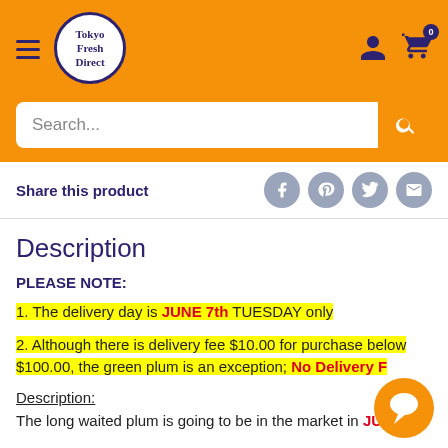[Figure (logo): Tokyo Fresh Direct circular logo with orange background header, hamburger menu, account and cart icons]
Search...
Share this product
Description
PLEASE NOTE:
1. The delivery day is JUNE 7th TUESDAY only
2. Although there is delivery fee $10.00 for purchase below $100.00, the green plum is an exception; No Delivery F…
Description:
The long waited plum is going to be in the market in JUNE.